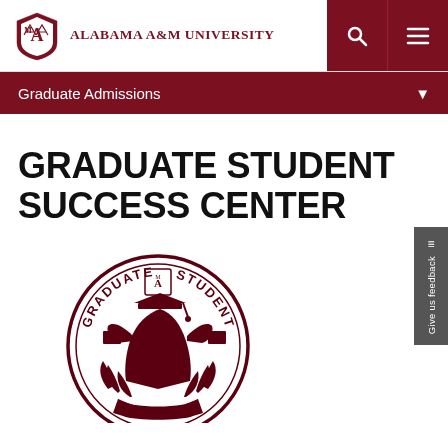Alabama A&M University — Graduate Admissions
GRADUATE STUDENT SUCCESS CENTER
[Figure (logo): Graduate Student Success Center circular seal logo with graduation cap figure and laurel/flame elements in dark maroon]